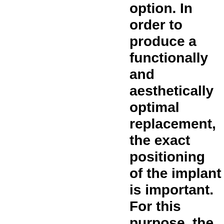option. In order to produce a functionally and aesthetically optimal replacement, the exact positioning of the implant is important. For this purpose, the position can be virtually planned on the computer. The implant position determined